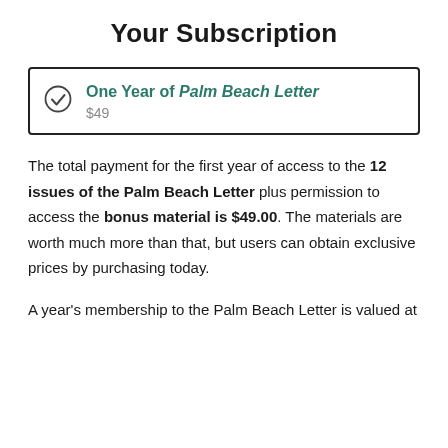Your Subscription
One Year of Palm Beach Letter
$49
The total payment for the first year of access to the 12 issues of the Palm Beach Letter plus permission to access the bonus material is $49.00. The materials are worth much more than that, but users can obtain exclusive prices by purchasing today.
A year's membership to the Palm Beach Letter is valued at